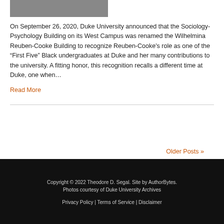[Figure (photo): Black and white photograph (partially visible at top of page)]
On September 26, 2020, Duke University announced that the Sociology-Psychology Building on its West Campus was renamed the Wilhelmina Reuben-Cooke Building to recognize Reuben-Cooke's role as one of the “First Five” Black undergraduates at Duke and her many contributions to the university. A fitting honor, this recognition recalls a different time at Duke, one when…
Read More
Older Posts »
Copyright © 2022 Theodore D. Segal. Site by AuthorBytes. Photos courtesy of Duke University Archives
Privacy Policy | Terms of Service | Disclaimer